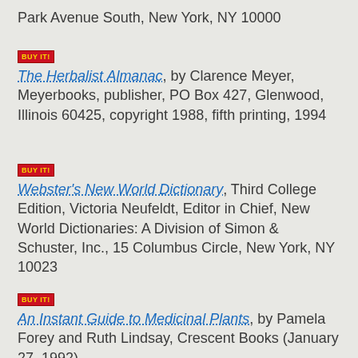Park Avenue South, New York, NY 10000
BUY IT! The Herbalist Almanac, by Clarence Meyer, Meyerbooks, publisher, PO Box 427, Glenwood, Illinois 60425, copyright 1988, fifth printing, 1994
BUY IT! Webster's New World Dictionary, Third College Edition, Victoria Neufeldt, Editor in Chief, New World Dictionaries: A Division of Simon & Schuster, Inc., 15 Columbus Circle, New York, NY 10023
BUY IT! An Instant Guide to Medicinal Plants, by Pamela Forey and Ruth Lindsay, Crescent Books (January 27, 1992).